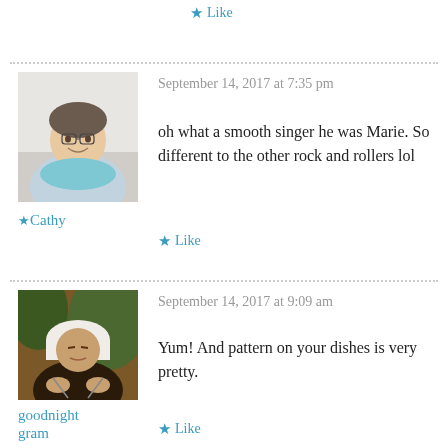★ Like
[Figure (photo): Profile photo of Cathy, a woman smiling, wearing a light blue scarf]
★ Cathy
September 14, 2017 at 7:35 pm
oh what a smooth singer he was Marie. So different to the other rock and rollers lol
★ Like
[Figure (photo): Profile photo of goodnight gram, an elderly woman in white headscarf knitting]
goodnight gram
September 14, 2017 at 9:09 am
Yum! And pattern on your dishes is very pretty.
★ Like